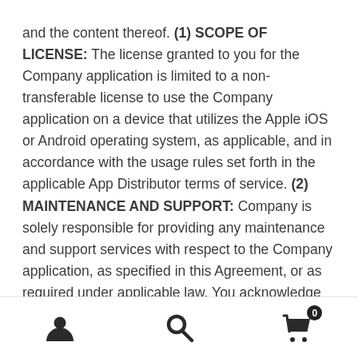and the content thereof. (1) SCOPE OF LICENSE: The license granted to you for the Company application is limited to a non-transferable license to use the Company application on a device that utilizes the Apple iOS or Android operating system, as applicable, and in accordance with the usage rules set forth in the applicable App Distributor terms of service. (2) MAINTENANCE AND SUPPORT: Company is solely responsible for providing any maintenance and support services with respect to the Company application, as specified in this Agreement, or as required under applicable law. You acknowledge that each App Distributor has no obligation whatsoever to furnish any maintenance and support services with respect to the Company
[Figure (infographic): Bottom navigation bar with three icons: user/profile icon (left), search/magnifying glass icon (center), shopping cart icon with badge showing '0' (right)]